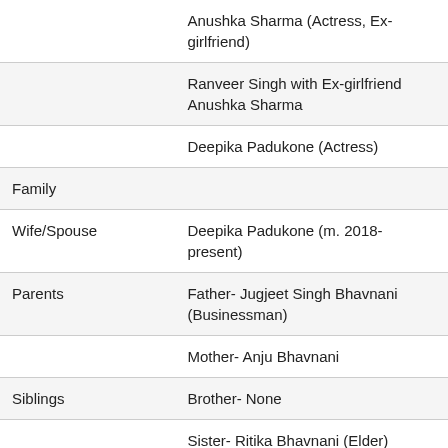|  | Anushka Sharma (Actress, Ex-girlfriend) |
|  | Ranveer Singh with Ex-girlfriend Anushka Sharma |
|  | Deepika Padukone (Actress) |
| Family |  |
| Wife/Spouse | Deepika Padukone (m. 2018-present) |
| Parents | Father- Jugjeet Singh Bhavnani (Businessman) |
|  | Mother- Anju Bhavnani |
| Siblings | Brother- None |
|  | Sister- Ritika Bhavnani (Elder) |